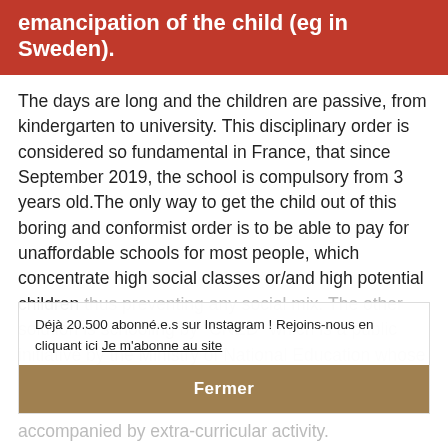emancipation of the child (eg in Sweden).
The days are long and the children are passive, from kindergarten to university. This disciplinary order is considered so fundamental in France, that since September 2019, the school is compulsory from 3 years old.The only way to get the child out of this boring and conformist order is to be able to pay for unaffordable schools for most people, which concentrate high social classes or/and high potential children thus preventing any social mix. The other solution is schooling by "CNED" which is a public initiative by the Ministry of National Education whose purpose is to offer distance education. This solution doesn't socialize the child and seems to be accompanied by extra-curricular activity.
Déjà 20.500 abonné.e.s sur Instagram ! Rejoins-nous en cliquant ici Je m'abonne au site